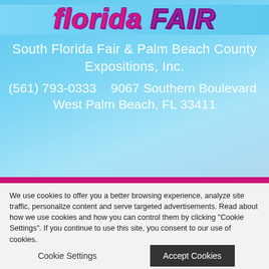[Figure (logo): South Florida Fair logo with 'florida FAIR' in pink/purple italic bold text on light blue background]
South Florida Fair & Palm Beach County Expositions, Inc.
(561) 793-0333    9067 Southern Boulevard  West Palm Beach, FL 33411
HOME
THE FAIR
We use cookies to offer you a better browsing experience, analyze site traffic, personalize content and serve targeted advertisements. Read about how we use cookies and how you can control them by clicking "Cookie Settings". If you continue to use this site, you consent to our use of cookies.
Cookie Settings   Accept Cookies